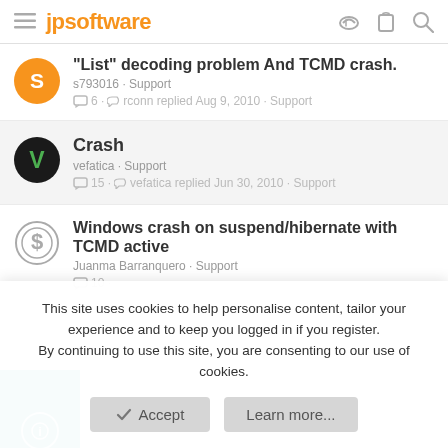jpsoftware
"List" decoding problem And TCMD crash. — s793016 · Support — 6 · rconn replied Aug 9, 2010 · Support
Crash — vefatica · Support — 15 · vefatica replied Jun 30, 2010 · Support
Windows crash on suspend/hibernate with TCMD active — Juanma Barranquero · Support — 10 ·
This site uses cookies to help personalise content, tailor your experience and to keep you logged in if you register.
By continuing to use this site, you are consenting to our use of cookies.